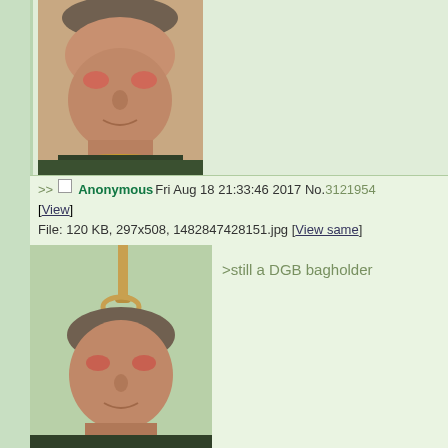[Figure (photo): Photo of a man's face with reddish eyes and a gold chain/rope around his neck, close-up portrait]
>> Anonymous Fri Aug 18 21:33:46 2017 No.3121954
[View]
File: 120 KB, 297x508, 1482847428151.jpg [View same]
[iqdb] [saucenao] [google]
[Figure (photo): Same man's face photo with a rope visible above his head, repeated image]
>still a DGB bagholder